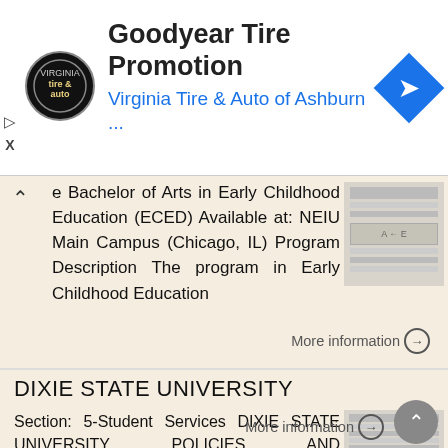[Figure (screenshot): Goodyear Tire Promotion advertisement banner with Virginia Tire & Auto of Ashburn logo and navigation arrow icon]
e Bachelor of Arts in Early Childhood Education (ECED) Available at: NEIU Main Campus (Chicago, IL) Program Description The program in Early Childhood Education
More information →
DIXIE STATE UNIVERSITY
Section: 5-Student Services DIXIE STATE UNIVERSITY POLICIES AND PROCEDURES MANUAL Policy No: 20 Approved: 4/26/96 Revised: 1/31/2014 Policy: GRADUATION 5-20 GRADUATION I. Dixie State University (DSU) has
More information →